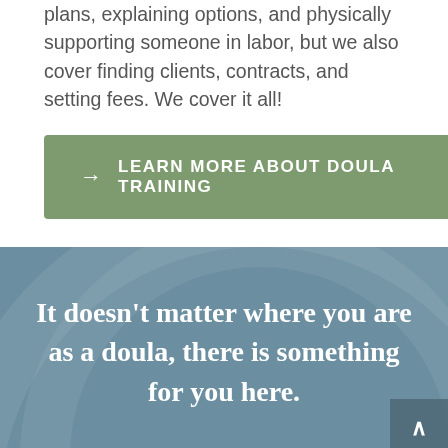plans, explaining options, and physically supporting someone in labor, but we also cover finding clients, contracts, and setting fees. We cover it all!
LEARN MORE ABOUT DOULA TRAINING
It doesn't matter where you are as a doula, there is something for you here.